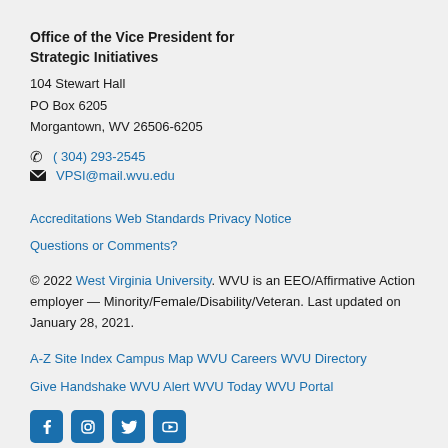Office of the Vice President for Strategic Initiatives
104 Stewart Hall
PO Box 6205
Morgantown, WV 26506-6205
(304) 293-2545
VPSI@mail.wvu.edu
Accreditations   Web Standards   Privacy Notice
Questions or Comments?
© 2022 West Virginia University. WVU is an EEO/Affirmative Action employer — Minority/Female/Disability/Veteran. Last updated on January 28, 2021.
A-Z Site Index   Campus Map   WVU Careers   WVU Directory
Give   Handshake   WVU Alert   WVU Today   WVU Portal
[Figure (other): Social media icons: Facebook, Instagram, Twitter, YouTube]